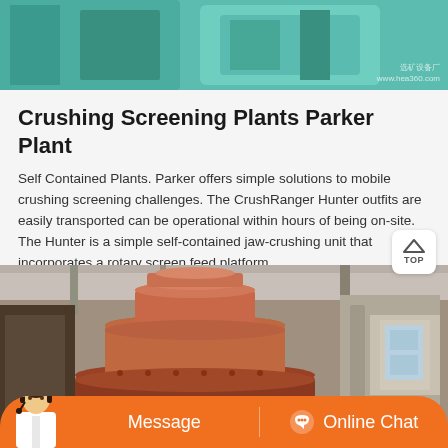[Figure (photo): Top portion showing green/teal industrial crushing equipment machinery, close-up view with watermark text '选矿设备厂 www.hea360.com']
Crushing Screening Plants Parker Plant
Self Contained Plants. Parker offers simple solutions to mobile crushing screening challenges. The CrushRanger Hunter outfits are easily transported can be operational within hours of being on-site. The Hunter is a simple self-contained jaw-crushing unit that incorporates a rotary screen feed platform.
[Figure (photo): Large red/rust-colored cone crusher machine inside an industrial facility/warehouse, viewed from below-front angle showing the cone and mantle. Background shows factory interior with stairs and windows.]